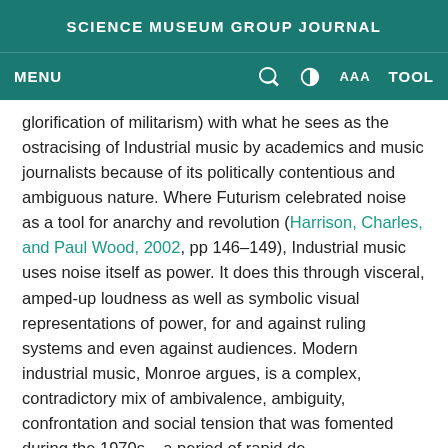SCIENCE MUSEUM GROUP JOURNAL
MENU  🔍  ◑  AAA  TOOL
glorification of militarism) with what he sees as the ostracising of Industrial music by academics and music journalists because of its politically contentious and ambiguous nature. Where Futurism celebrated noise as a tool for anarchy and revolution (Harrison, Charles, and Paul Wood, 2002, pp 146–149), Industrial music uses noise itself as power. It does this through visceral, amped-up loudness as well as symbolic visual representations of power, for and against ruling systems and even against audiences. Modern industrial music, Monroe argues, is a complex, contradictory mix of ambivalence, ambiguity, confrontation and social tension that was fomented during the 1970s – a period of rapid de-industrialisation, social unrest and upheaval in Europe and the USA. Cabaret Voltaire and Throbbing Gristle,